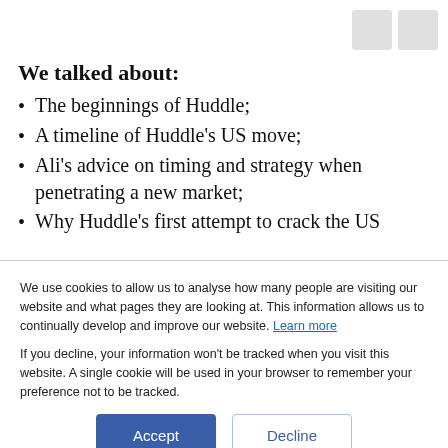We talked about:
The beginnings of Huddle;
A timeline of Huddle's US move;
Ali's advice on timing and strategy when penetrating a new market;
Why Huddle's first attempt to crack the US
We use cookies to allow us to analyse how many people are visiting our website and what pages they are looking at. This information allows us to continually develop and improve our website. Learn more
If you decline, your information won't be tracked when you visit this website. A single cookie will be used in your browser to remember your preference not to be tracked.
Accept
Decline